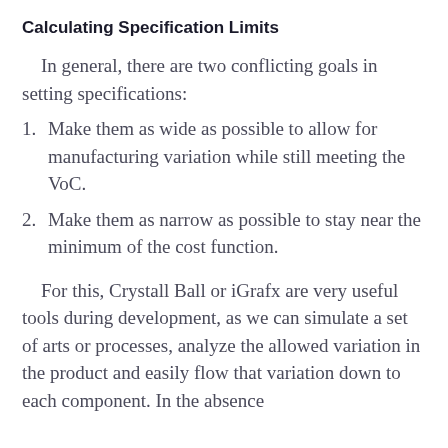Calculating Specification Limits
In general, there are two conflicting goals in setting specifications:
Make them as wide as possible to allow for manufacturing variation while still meeting the VoC.
Make them as narrow as possible to stay near the minimum of the cost function.
For this, Crystall Ball or iGrafx are very useful tools during development, as we can simulate a set of arts or processes, analyze the allowed variation in the product and easily flow that variation down to each component. In the absence